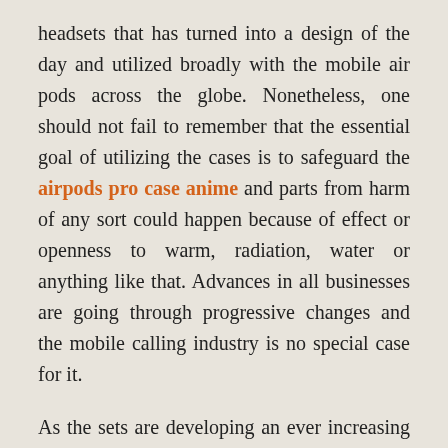headsets that has turned into a design of the day and utilized broadly with the mobile air pods across the globe. Nonetheless, one should not fail to remember that the essential goal of utilizing the cases is to safeguard the airpods pro case anime and parts from harm of any sort could happen because of effect or openness to warm, radiation, water or anything like that. Advances in all businesses are going through progressive changes and the mobile calling industry is no special case for it.
As the sets are developing an ever increasing number of costly they are additionally getting more modest and more slender than